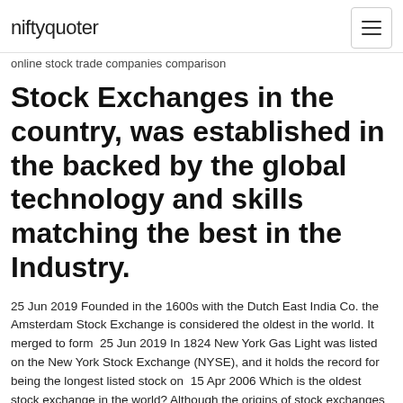niftyquoter
online stock trade companies comparison
Stock Exchanges in the country, was established in the backed by the global technology and skills matching the best in the Industry.
25 Jun 2019 Founded in the 1600s with the Dutch East India Co. the Amsterdam Stock Exchange is considered the oldest in the world. It merged to form 25 Jun 2019 In 1824 New York Gas Light was listed on the New York Stock Exchange (NYSE), and it holds the record for being the longest listed stock on 15 Apr 2006 Which is the oldest stock exchange in the world? Although the origins of stock exchanges can be traced back to the stock